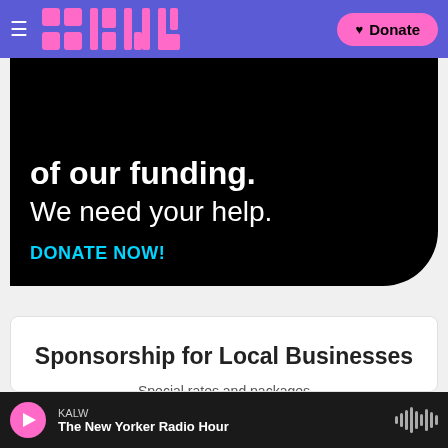KALW navigation bar with logo and Donate button
[Figure (screenshot): Black promotional banner with white text 'of our funding.' and 'We need your help.' and cyan text 'DONATE NOW!']
Sponsorship for Local Businesses
Special rates and packages
Learn More
KALW - The New Yorker Radio Hour (player bar)